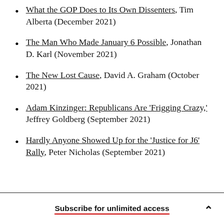What the GOP Does to Its Own Dissenters, Tim Alberta (December 2021)
The Man Who Made January 6 Possible, Jonathan D. Karl (November 2021)
The New Lost Cause, David A. Graham (October 2021)
Adam Kinzinger: Republicans Are 'Frigging Crazy,' Jeffrey Goldberg (September 2021)
Hardly Anyone Showed Up for the 'Justice for J6' Rally, Peter Nicholas (September 2021)
Subscribe for unlimited access